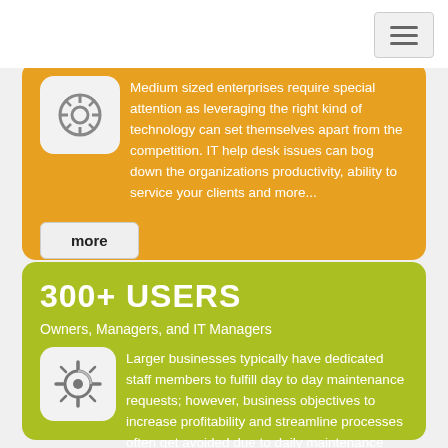Medium sized enterprises require special attention as leveraging the right kind of technology can set themselves apart from the competition. IT help desk issues can bog down the organizations productivity, ability to service your clients and more...
more
300+ USERS
Owners, Managers, and IT Managers
Larger businesses typically have dedicated staff members to fulfill day to day maintenance requests; however, business objectives to increase profitability and streamline processes often get avoided due to daily maintenance routines...